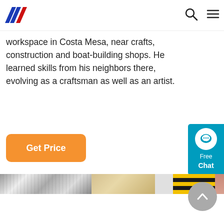Navigation bar with logo and menu icons
workspace in Costa Mesa, near crafts, construction and boat-building shops. He learned skills from his neighbors there, evolving as a craftsman as well as an artist.
[Figure (other): Orange 'Get Price' button]
[Figure (other): Cyan chat widget with speech bubble icon, text 'Free Chat']
[Figure (photo): Horizontal strip of close-up images showing rope/wire textures and yellow-black striped material]
[Figure (other): Grey circular scroll-to-top arrow button]